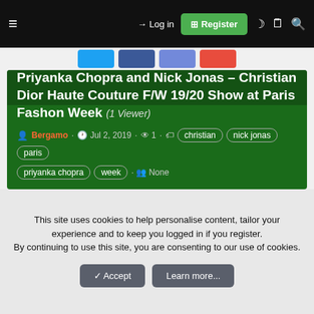≡  → Log in  ⊞ Register  ☾  🗎  🔍
[Figure (screenshot): Social share buttons row: Twitter (blue), Facebook (dark blue), Discord (purple), Reddit (red)]
[Figure (screenshot): Dark green card background image area]
Priyanka Chopra and Nick Jonas – Christian Dior Haute Couture F/W 19/20 Show at Paris Fashon Week (1 Viewer)
Bergamo · Jul 2, 2019 · 1 · christian  nick jonas  paris  priyanka chopra  week · None
This site uses cookies to help personalise content, tailor your experience and to keep you logged in if you register.
By continuing to use this site, you are consenting to our use of cookies.
✓ Accept    Learn more...